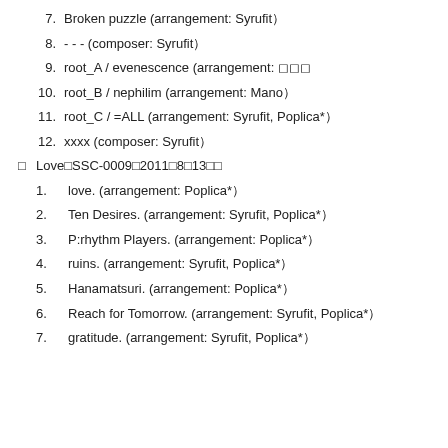7.  Broken puzzle (arrangement: Syrufit）
8.  - - - (composer: Syrufit）
9.  root_A / evenescence (arrangement: ◻◻◻
10. root_B / nephilim (arrangement: Mano）
11. root_C / =ALL (arrangement: Syrufit, Poplica*）
12. xxxx (composer: Syrufit）
◻  Love◻SSC-0009◻2011◻8◻13◻◻
1.  love. (arrangement: Poplica*）
2.  Ten Desires. (arrangement: Syrufit, Poplica*）
3.  P:rhythm Players. (arrangement: Poplica*）
4.  ruins. (arrangement: Syrufit, Poplica*）
5.  Hanamatsuri. (arrangement: Poplica*）
6.  Reach for Tomorrow. (arrangement: Syrufit, Poplica*）
7.  gratitude. (arrangement: Syrufit, Poplica*）